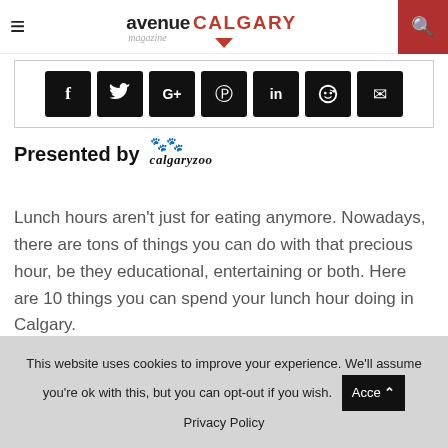avenue magazine CALGARY
[Figure (screenshot): Social share buttons: Facebook, Twitter, Google+, Pinterest, LinkedIn, Reddit, Email — black square buttons]
Presented by calgaryzoo
Lunch hours aren't just for eating anymore. Nowadays, there are tons of things you can do with that precious hour, be they educational, entertaining or both. Here are 10 things you can spend your lunch hour doing in Calgary.
This website uses cookies to improve your experience. We'll assume you're ok with this, but you can opt-out if you wish. Accept Privacy Policy